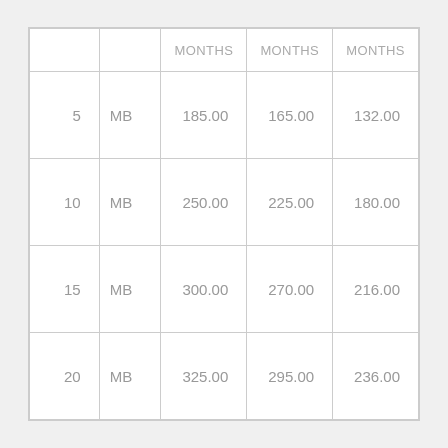|  |  | MONTHS | MONTHS | MONTHS |
| --- | --- | --- | --- | --- |
| 5 | MB | 185.00 | 165.00 | 132.00 |
| 10 | MB | 250.00 | 225.00 | 180.00 |
| 15 | MB | 300.00 | 270.00 | 216.00 |
| 20 | MB | 325.00 | 295.00 | 236.00 |